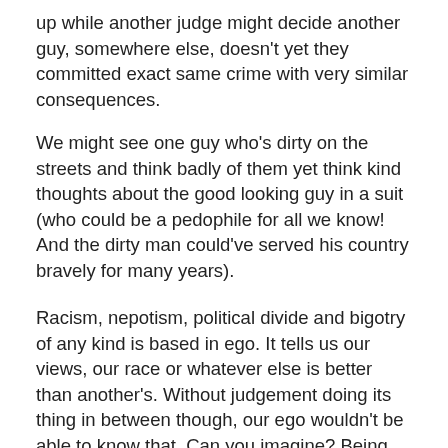up while another judge might decide another guy, somewhere else, doesn't yet they committed exact same crime with very similar consequences.
We might see one guy who's dirty on the streets and think badly of them yet think kind thoughts about the good looking guy in a suit (who could be a pedophile for all we know! And the dirty man could've served his country bravely for many years).
Racism, nepotism, political divide and bigotry of any kind is based in ego. It tells us our views, our race or whatever else is better than another's. Without judgement doing its thing in between though, our ego wouldn't be able to know that. Can you imagine? Being able to hold space for others with opposing perspectives without it triggering that sense of danger that we intuitively feel when someone threatens us with an